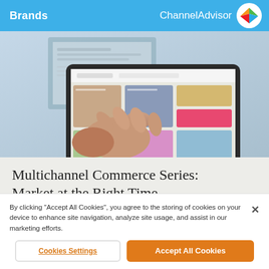Brands   ChannelAdvisor
[Figure (photo): Person's hand using a finger to navigate a tablet device showing a shopping/e-commerce website with product images]
Multichannel Commerce Series: Market at the Right Time
READ TIME: 6 MINUTES
By clicking “Accept All Cookies”, you agree to the storing of cookies on your device to enhance site navigation, analyze site usage, and assist in our marketing efforts.
Cookies Settings   Accept All Cookies